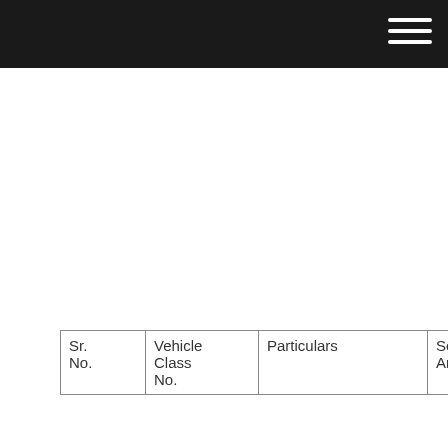| Sr. No. | Vehicle Class No. | Particulars | Security Amount | Minimum Balance |
| --- | --- | --- | --- | --- |